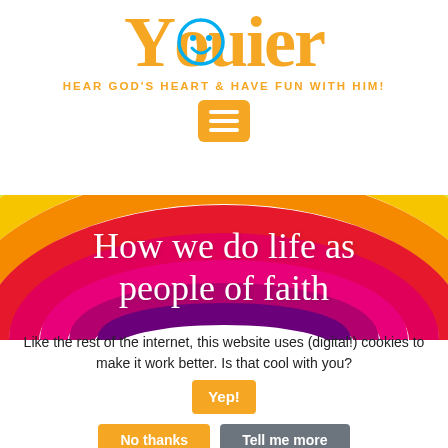[Figure (logo): Youier logo in orange with a smiley face inside the 'O', blue circle outline around the smiley]
HEAR GOD'S HEART & HAVE FUN WITH HIM!
[Figure (illustration): Hamburger menu button in orange]
[Figure (illustration): Rainbow arc illustration with bands of green, yellow, orange, red, magenta, pink and purple]
How we do life as people of faith
Like the rest of the internet, this website uses (digital!) cookies to make it work better. Is that cool with you?
Yep!
No thanks
Tell me more